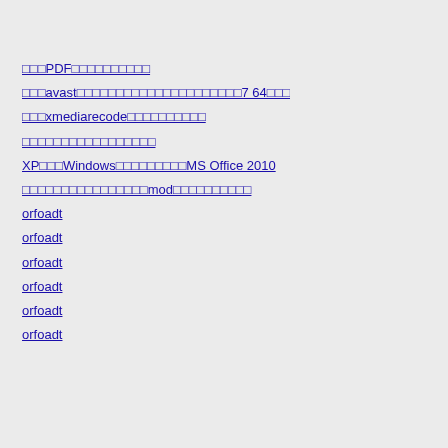□□□PDF□□□□□□□□□□
□□□avast□□□□□□□□□□□□□□□□□□□□□7 64□□□
□□□xmediarecode□□□□□□□□□□
□□□□□□□□□□□□□□□□□
XP□□□Windows□□□□□□□□□MS Office 2010
□□□□□□□□□□□□□□□□mod□□□□□□□□□□
orfoadt
orfoadt
orfoadt
orfoadt
orfoadt
orfoadt